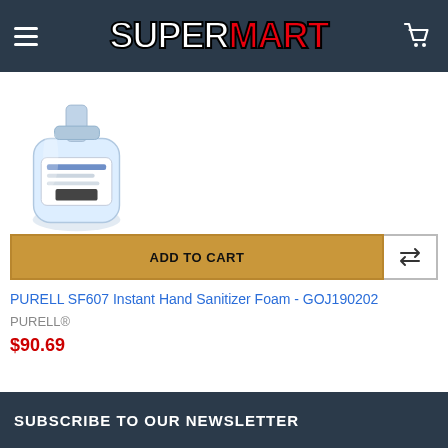SUPERMART
[Figure (photo): Product image of PURELL SF607 Instant Hand Sanitizer Foam bottle, a clear pump dispenser bottle]
ADD TO CART
PURELL SF607 Instant Hand Sanitizer Foam - GOJ190202
PURELL®
$90.69
SUBSCRIBE TO OUR NEWSLETTER